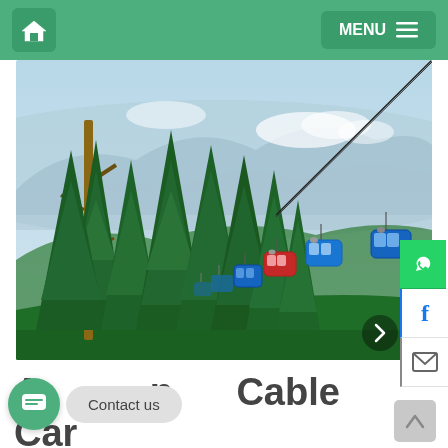Home | MENU
[Figure (photo): Cable car gondolas running through lush green pine forest with mountain valley and misty mountains in the background. Neelum Valley, AJK, Pakistan.]
Ayubia Cable Car (Neelum Valley, AJK)